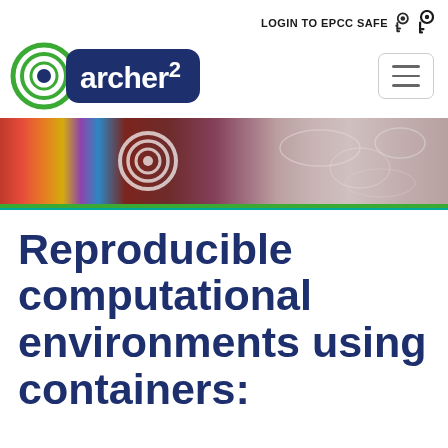LOGIN TO EPCC SAFE
[Figure (logo): ARCHER2 logo: circular target icon with green rings and dark center, next to dark blue rounded rectangle with 'archer2' text in white]
[Figure (photo): Banner image: colorful scientific visualization with red gradient on left, multicolored swirling structures on right, ARCHER2 target watermark overlay]
Reproducible computational environments using containers: